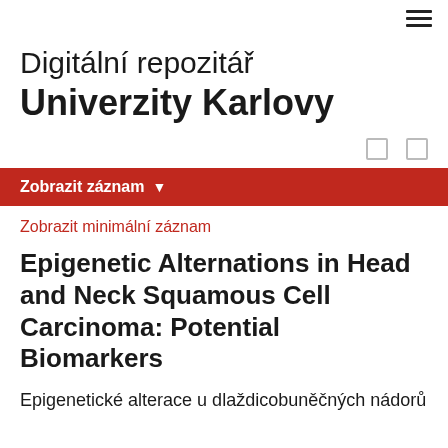≡
Digitální repozitář Univerzity Karlovy
Zobrazit záznam ▾
Zobrazit minimální záznam
Epigenetic Alternations in Head and Neck Squamous Cell Carcinoma: Potential Biomarkers
Epigenetické alterace u dlaždicobuněčných nádorů